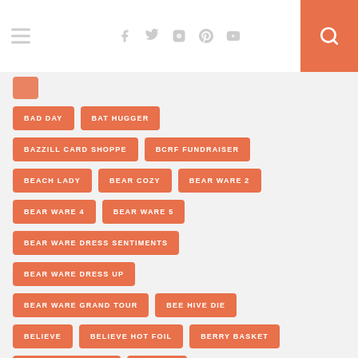Navigation header with hamburger menu, social icons (Facebook, Twitter, Instagram, Pinterest, YouTube), and search button
BAD DAY
BAT HUGGER
BAZZILL CARD SHOPPE
BCRF FUNDRAISER
BEACH LADY
BEAR COZY
BEAR WARE 2
BEAR WARE 4
BEAR WARE 5
BEAR WARE DRESS SENTIMENTS
BEAR WARE DRESS UP
BEAR WARE GRAND TOUR
BEE HIVE DIE
BELIEVE
BELIEVE HOT FOIL
BERRY BASKET
BERRY BASKET DIE
BESTIES
BE THE CHANGE
BETTER DAYS AHEAD
BIG CITY
BIG SCRIPTY HAPPY BIRTHDAY